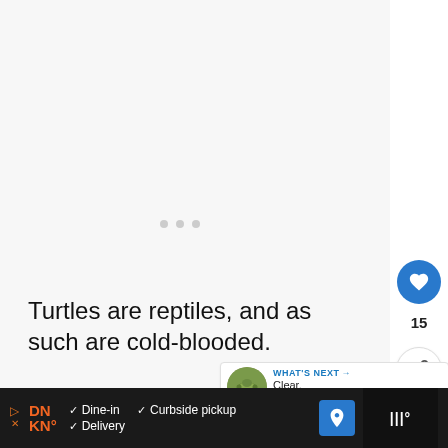[Figure (other): Light gray content placeholder area with three gray dots in the center (loading indicator)]
Turtles are reptiles, and as such are cold-blooded.
[Figure (other): What's Next panel with turtle thumbnail image, label 'WHAT'S NEXT →' and text 'Clear, Simplified,...']
This means that turtles do not need to
[Figure (other): Advertisement bar for Dunkin' (DN KN) with Dine-in, Curbside pickup, Delivery options and navigation icon]